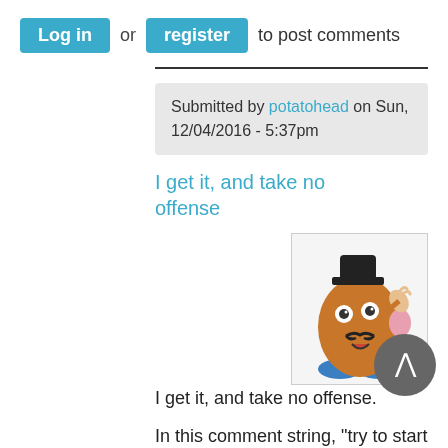Log in or register to post comments
Submitted by potatohead on Sun, 12/04/2016 - 5:37pm
I get it, and take no offense
[Figure (illustration): Mr. Potato Head cartoon character with mustache, hat, and blue feet, waving]
I get it, and take no offense.
In this comment string, "try to start a dialog with people sniping at one another" is pretty much spot on.
It's a mess.
I won't apologize for tone. Because it's a